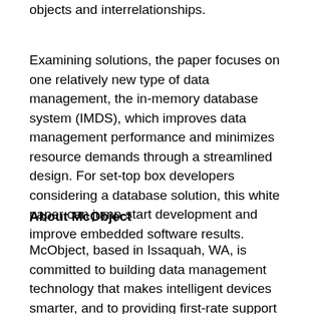objects and interrelationships.
Examining solutions, the paper focuses on one relatively new type of data management, the in-memory database system (IMDS), which improves data management performance and minimizes resource demands through a streamlined design. For set-top box developers considering a database solution, this white paper can jump-start development and improve embedded software results.
About McObject
McObject, based in Issaquah, WA, is committed to building data management technology that makes intelligent devices smarter, and to providing first-rate support and consulting services to customers and